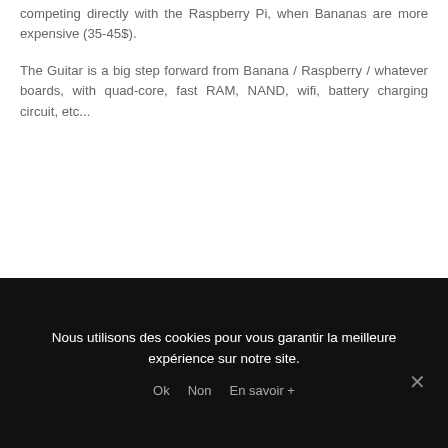competing directly with the Raspberry Pi, when Bananas are more expensive (35-45$).
The Guitar is a big step forward from Banana / Raspberry / whatever boards, with quad-core, fast RAM, NAND, wifi, battery charging circuit, etc...
Nous utilisons des cookies pour vous garantir la meilleure expérience sur notre site.
Ok  Non  En savoir +